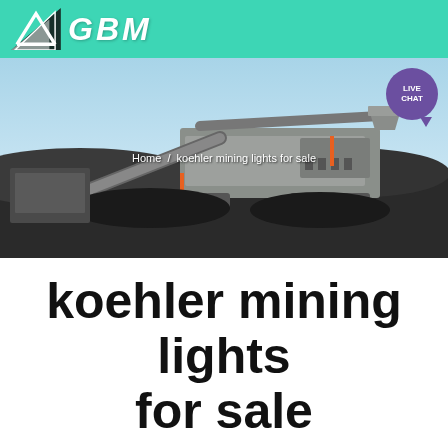GBM Logo and navigation header
[Figure (screenshot): Hero banner showing mining equipment (mobile crusher/screening plant) in a quarry with blue sky background. Breadcrumb navigation reads 'Home / koehler mining lights for sale'. Live Chat bubble in top right corner.]
koehler mining lights for sale
Get a Quote | WhatsApp